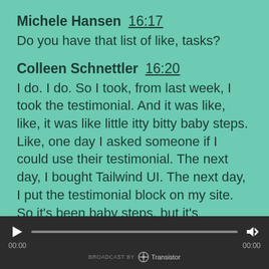Michele Hansen  16:17
Do you have that list of like, tasks?
Colleen Schnettler  16:20
I do. I do. So I took, from last week, I took the testimonial. And it was like, like, it was like little itty bitty baby steps. Like, one day I asked someone if I could use their testimonial. The next day, I bought Tailwind UI. The next day, I put the testimonial block on my site. So it's been baby steps, but it's progress, right? I mean, you got to know when you're at a time in
[Figure (other): Audio player bar with play button, progress bar, volume button, time stamps 00:00 and 00:00, and Transistor branding at bottom]